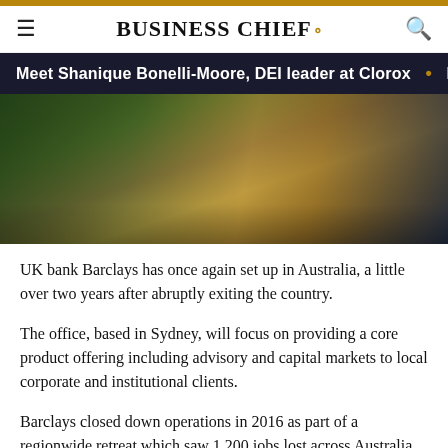BUSINESS CHIEF.
Meet Shanique Bonelli-Moore, DEI leader at Clorox • F
[Figure (photo): Exterior architectural photo of a building with overhanging roof structure, glass elements, and golden/amber lighting — likely a financial district building]
UK bank Barclays has once again set up in Australia, a little over two years after abruptly exiting the country.
The office, based in Sydney, will focus on providing a core product offering including advisory and capital markets to local corporate and institutional clients.
Barclays closed down operations in 2016 as part of a regionwide retreat which saw 1,200 jobs lost across Australia, South Korea, Taiwan which also led the departure